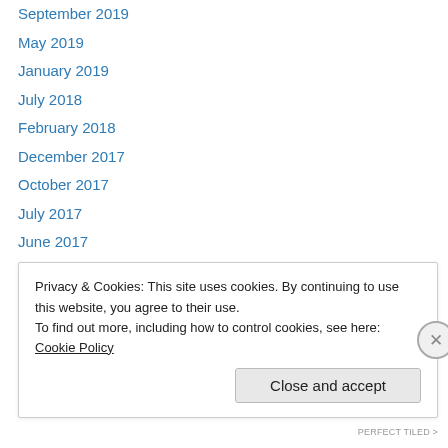September 2019
May 2019
January 2019
July 2018
February 2018
December 2017
October 2017
July 2017
June 2017
April 2017
February 2017
December 2016
November 2016
October 2016 (partial)
Privacy & Cookies: This site uses cookies. By continuing to use this website, you agree to their use. To find out more, including how to control cookies, see here: Cookie Policy
Close and accept